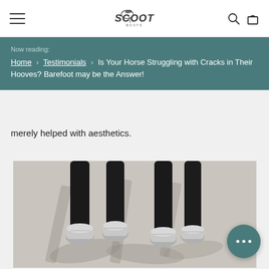Scoot Boots navigation bar with menu, logo, search and cart icons
Now reading:
Home › Testimonials › Is Your Horse Struggling with Cracks in Their Hooves? Barefoot may be the Answer!
merely helped with aesthetics.
[Figure (photo): Close-up photograph of a dark horse's lower legs and hooves, wearing silver hoof boots, standing on a light concrete surface with shadows visible.]